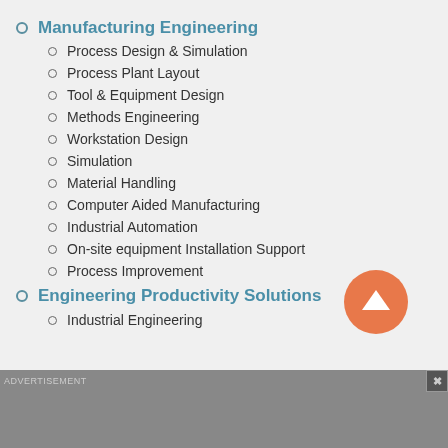Manufacturing Engineering
Process Design & Simulation
Process Plant Layout
Tool & Equipment Design
Methods Engineering
Workstation Design
Simulation
Material Handling
Computer Aided Manufacturing
Industrial Automation
On-site equipment Installation Support
Process Improvement
Engineering Productivity Solutions
Industrial Engineering
ADVERTISEMENT